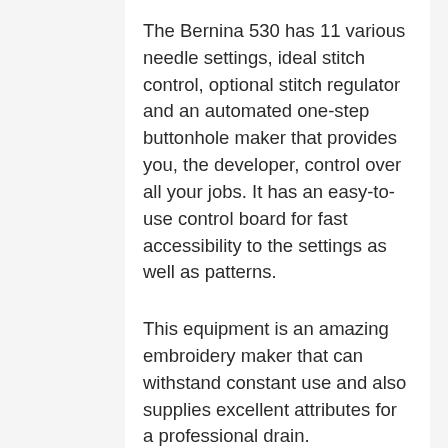The Bernina 530 has 11 various needle settings, ideal stitch control, optional stitch regulator and an automated one-step buttonhole maker that provides you, the developer, control over all your jobs. It has an easy-to-use control board for fast accessibility to the settings as well as patterns.
This equipment is an amazing embroidery maker that can withstand constant use and also supplies excellent attributes for a professional drain. Synonymous with premium quality, this deluxe maker provides embroidery, quilting, as well as conventional stitching capabilities.
With a library of 148 stitches, nine